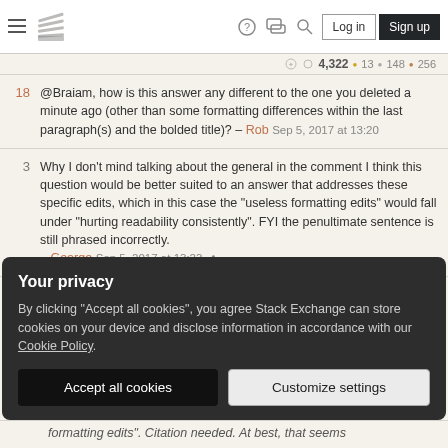Stack Exchange navigation bar with hamburger menu, logo, help, chat, search icons, Log in and Sign up buttons
4,322 • 13 • 148 • 256
18 @Braiam, how is this answer any different to the one you deleted a minute ago (other than some formatting differences within the last paragraph(s) and the bolded title)? – Rob Sep 5, 2017 at 13:20
3 Why I don't mind talking about the general in the comment I think this question would be better suited to an answer that addresses these specific edits, which in this case the "useless formatting edits" would fall under "hurting readability consistently". FYI the penultimate sentence is still phrased incorrectly. – George Sep 5, 2017 at 13:23
Your privacy
By clicking "Accept all cookies", you agree Stack Exchange can store cookies on your device and disclose information in accordance with our Cookie Policy.
Accept all cookies
Customize settings
formatting edits". Citation needed. At best, that seems